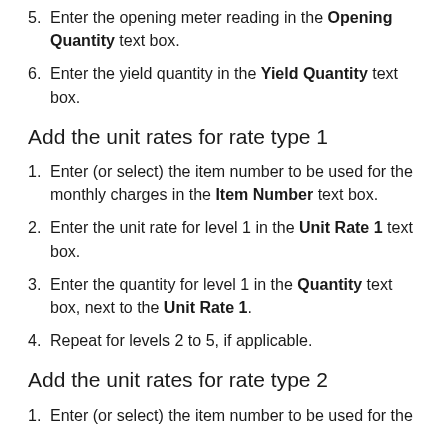5. Enter the opening meter reading in the Opening Quantity text box.
6. Enter the yield quantity in the Yield Quantity text box.
Add the unit rates for rate type 1
1. Enter (or select) the item number to be used for the monthly charges in the Item Number text box.
2. Enter the unit rate for level 1 in the Unit Rate 1 text box.
3. Enter the quantity for level 1 in the Quantity text box, next to the Unit Rate 1.
4. Repeat for levels 2 to 5, if applicable.
Add the unit rates for rate type 2
1. Enter (or select) the item number to be used for the